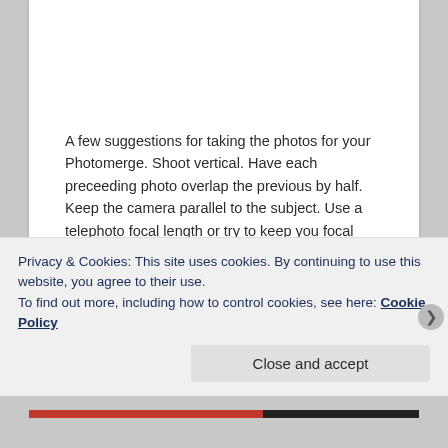A few suggestions for taking the photos for your Photomerge. Shoot vertical. Have each preceeding photo overlap the previous by half. Keep the camera parallel to the subject. Use a telephoto focal length or try to keep you focal length as narrow as possible.
The photo was made from 8 JPEG images. I also didn't follow my own rules. I used 27mm focal length (35mm camera) and the wide angle focal length resulted in the
Privacy & Cookies: This site uses cookies. By continuing to use this website, you agree to their use.
To find out more, including how to control cookies, see here: Cookie Policy